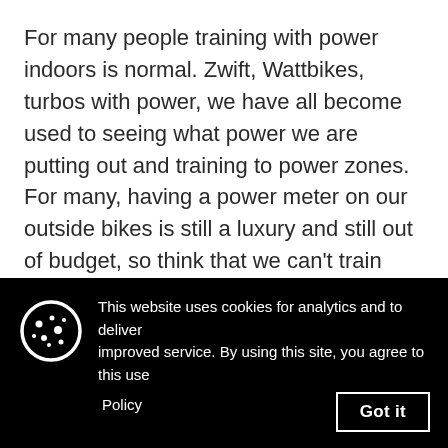For many people training with power indoors is normal. Zwift, Wattbikes, turbos with power, we have all become used to seeing what power we are putting out and training to power zones. For many, having a power meter on our outside bikes is still a luxury and still out of budget, so think that we can't train outside on a bike without power.
This is just plain wrong thinking.....
This website uses cookies for analytics and to deliver improved service. By using this site, you agree to this use
Policy
Got it